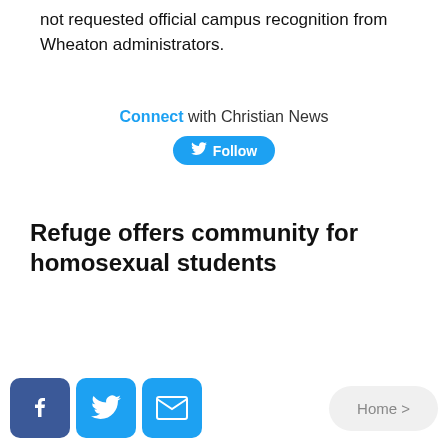not requested official campus recognition from Wheaton administrators.
Connect with Christian News
[Figure (other): Twitter Follow button in blue pill shape]
Refuge offers community for homosexual students
[Figure (other): Social sharing buttons: Facebook, Twitter, Email icons, and Home navigation button]